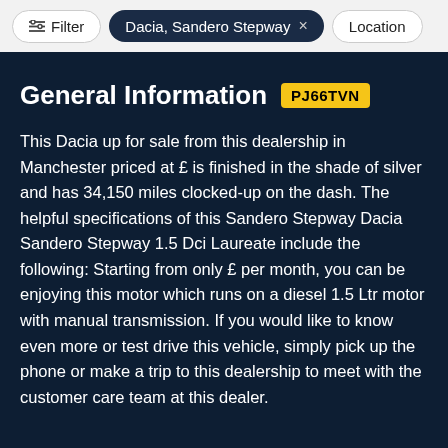Filter  Dacia, Sandero Stepway  ×  Location
General Information  PJ66TVN
This Dacia up for sale from this dealership in Manchester priced at £ is finished in the shade of silver and has 34,150 miles clocked-up on the dash. The helpful specifications of this Sandero Stepway Dacia Sandero Stepway 1.5 Dci Laureate include the following: Starting from only £ per month, you can be enjoying this motor which runs on a diesel 1.5 Ltr motor with manual transmission. If you would like to know even more or test drive this vehicle, simply pick up the phone or make a trip to this dealership to meet with the customer care team at this dealer.